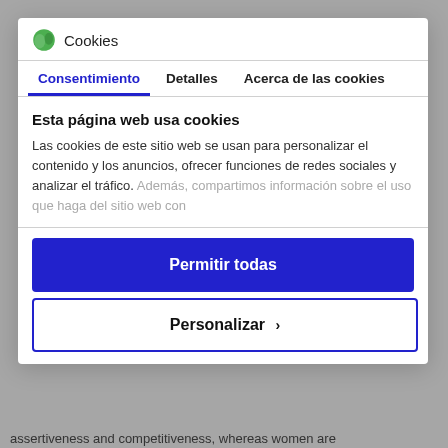[Figure (screenshot): Cookie consent modal dialog overlay on a webpage. Contains a logo and 'Cookies' title, three tabs (Consentimiento, Detalles, Acerca de las cookies), a section heading, body text, and two buttons (Permitir todas, Personalizar).]
Cookies
Consentimiento
Detalles
Acerca de las cookies
Esta página web usa cookies
Las cookies de este sitio web se usan para personalizar el contenido y los anuncios, ofrecer funciones de redes sociales y analizar el tráfico. Además, compartimos información sobre el uso que haga del sitio web con
Permitir todas
Personalizar  ›
assertiveness and competitiveness, whereas women are